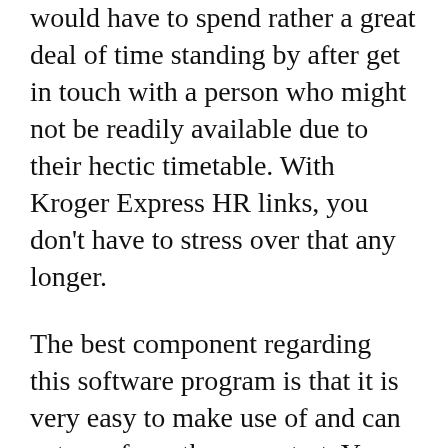would have to spend rather a great deal of time standing by after get in touch with a person who might not be readily available due to their hectic timetable. With Kroger Express HR links, you don't have to stress over that any longer.
The best component regarding this software program is that it is very easy to make use of and can get you from the very start. You don't need to understand anything else however the specific feature of this software application. With Express Human Resources connects, you can conserve time and money. Rather than going to the cell contents to get your resume...